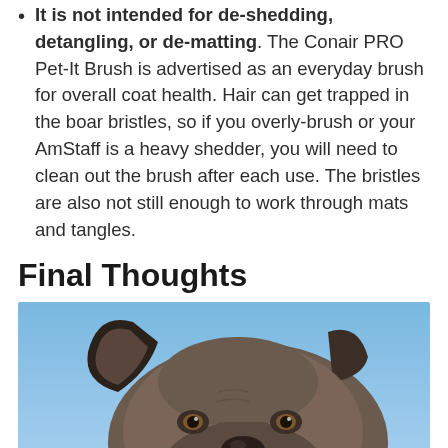It is not intended for de-shedding, detangling, or de-matting. The Conair PRO Pet-It Brush is advertised as an everyday brush for overall coat health. Hair can get trapped in the boar bristles, so if you overly-brush or your AmStaff is a heavy shedder, you will need to clean out the brush after each use. The bristles are also not still enough to work through mats and tangles.
Final Thoughts
[Figure (photo): Close-up photo of a brown/grey American Staffordshire Terrier dog with a chain collar, against a blue sky background.]